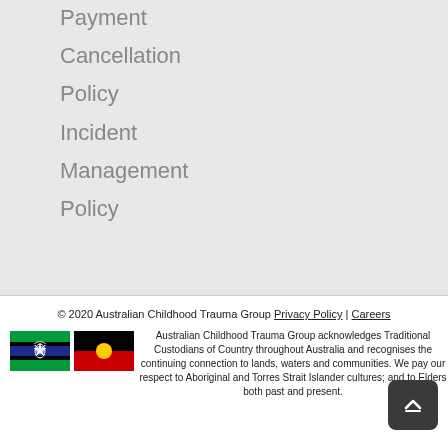Payment
Cancellation
Policy
Incident
Management
Policy
© 2020 Australian Childhood Trauma Group Privacy Policy | Careers
Australian Childhood Trauma Group acknowledges Traditional Custodians of Country throughout Australia and recognises the continuing connection to lands, waters and communities. We pay our respect to Aboriginal and Torres Strait Islander cultures; and to Elders both past and present.